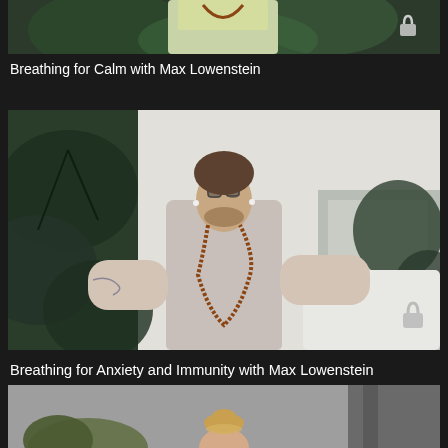[Figure (photo): Partial thumbnail of a video course - person with plants in background, cropped at top of page]
Breathing for Calm with Max Lowenstein
[Figure (photo): Thumbnail of a video course featuring a man with glasses and beads sitting in meditation pose, plants and white room in background, lock icon in bottom right]
Breathing for Anxiety and Immunity with Max Lowenstein
[Figure (photo): Partial thumbnail of a third video course - woman with hair up, gray background, partially visible at bottom of page]